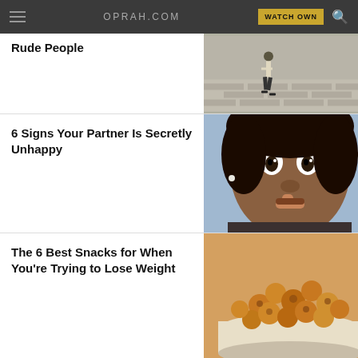OPRAH.COM | WATCH OWN
Rude People
[Figure (photo): Person walking along a brick wall]
6 Signs Your Partner Is Secretly Unhappy
[Figure (photo): Man with finger to lips making a shushing gesture]
The 6 Best Snacks for When You're Trying to Lose Weight
[Figure (photo): Bowl of roasted chickpeas or nuts]
8 Surprising Habits That Make You Look Older
[Figure (photo): Woman's face partial view]